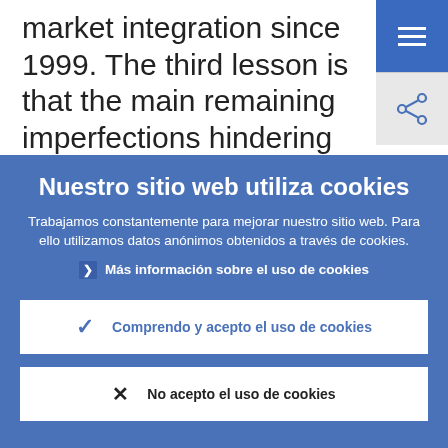market integration since 1999. The third lesson is that the main remaining imperfections hindering European financial integration are in the retail payments and
Nuestro sitio web utiliza cookies
Trabajamos constantemente para mejorar nuestro sitio web. Para ello utilizamos datos anónimos obtenidos a través de cookies.
Más información sobre el uso de cookies
Comprendo y acepto el uso de cookies
No acepto el uso de cookies